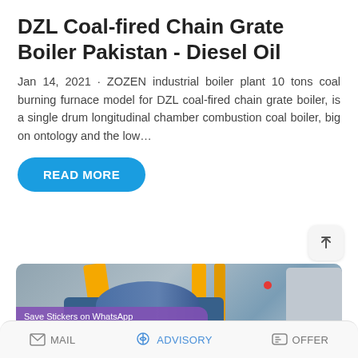DZL Coal-fired Chain Grate Boiler Pakistan - Diesel Oil
Jan 14, 2021 · ZOZEN industrial boiler plant 10 tons coal burning furnace model for DZL coal-fired chain grate boiler, is a single drum longitudinal chamber combustion coal boiler, big on ontology and the low…
READ MORE
[Figure (photo): Industrial boiler facility with yellow rails/pipes and blue boiler drum unit, with WhatsApp sticker overlay at bottom]
MAIL   ADVISORY   OFFER